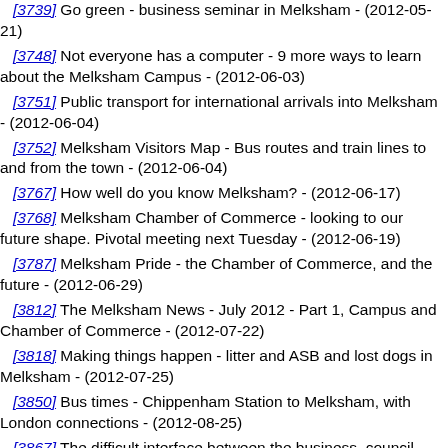[3739] Go green - business seminar in Melksham - (2012-05-21)
[3748] Not everyone has a computer - 9 more ways to learn about the Melksham Campus - (2012-06-03)
[3751] Public transport for international arrivals into Melksham - (2012-06-04)
[3752] Melksham Visitors Map - Bus routes and train lines to and from the town - (2012-06-04)
[3767] How well do you know Melksham? - (2012-06-17)
[3768] Melksham Chamber of Commerce - looking to our future shape. Pivotal meeting next Tuesday - (2012-06-19)
[3787] Melksham Pride - the Chamber of Commerce, and the future - (2012-06-29)
[3812] The Melksham News - July 2012 - Part 1, Campus and Chamber of Commerce - (2012-07-22)
[3818] Making things happen - litter and ASB and lost dogs in Melksham - (2012-07-25)
[3850] Bus times - Chippenham Station to Melksham, with London connections - (2012-08-25)
[3867] The difficult interface between the business, council and voluntary